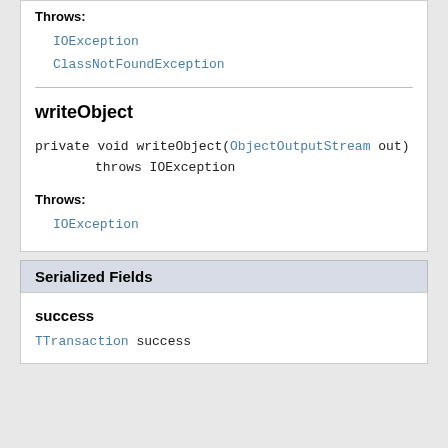Throws:
IOException
ClassNotFoundException
writeObject
private void writeObject(ObjectOutputStream out)
                    throws IOException
Throws:
IOException
Serialized Fields
success
TTransaction success